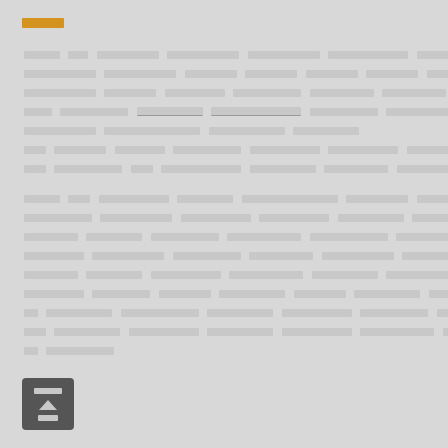[REDACTED TITLE]
[REDACTED PARAGRAPH 1 - multiple lines of redacted text content spanning approximately 8 lines]
[REDACTED PARAGRAPH 2 - multiple lines of redacted text content spanning approximately 8 lines]